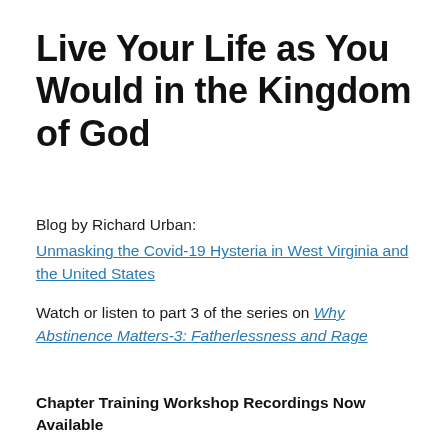Live Your Life as You Would in the Kingdom of God
Blog by Richard Urban:
Unmasking the Covid-19 Hysteria in West Virginia and the United States
Watch or listen to part 3 of the series on Why Abstinence Matters-3: Fatherlessness and Rage
Chapter Training Workshop Recordings Now Available